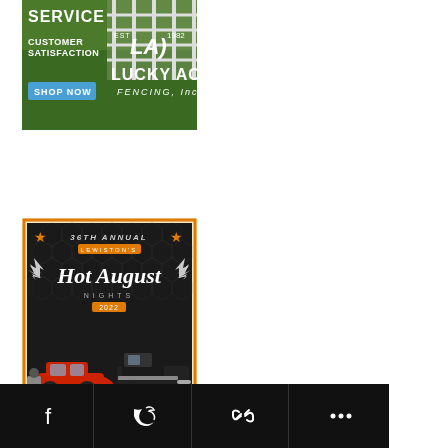[Figure (illustration): Lucky Acres Fencing Inc advertisement with fence on green field background. Shows 'Service', 'Customer Satisfaction', 'SHOP NOW' button, 'Est LA) 1982', 'LUCKY ACRES FENCING, Inc.']
[Figure (illustration): 36th Annual Lewiston's Hot August Nights 2022 event poster with classic red car and motorcycle, orange and black design with hexagon background and wing graphics]
[Figure (infographic): Social share bar with Facebook, Twitter, chain/link, and more (...) icons on black background]